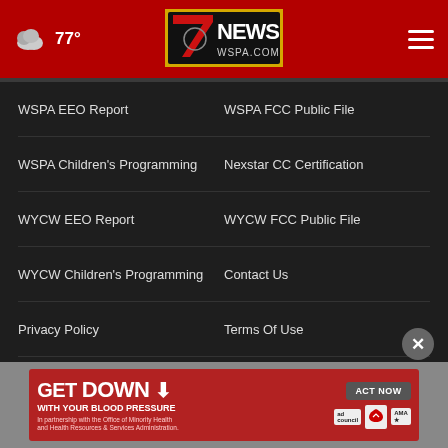77° — 7News WSPA.COM
WSPA EEO Report
WSPA FCC Public File
WSPA Children's Programming
Nexstar CC Certification
WYCW EEO Report
WYCW FCC Public File
WYCW Children's Programming
Contact Us
Privacy Policy
Terms Of Use
Do Not Sell My Personal Information
FCC Applications
Public F...
[Figure (screenshot): Advertisement banner: GET DOWN WITH YOUR BLOOD PRESSURE — ACT NOW — ad council, American Heart Association, AMA logos]